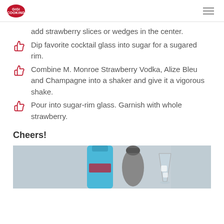GiGi logo and navigation
add strawberry slices or wedges in the center.
Dip favorite cocktail glass into sugar for a sugared rim.
Combine M. Monroe Strawberry Vodka, Alize Bleu and Champagne into a shaker and give it a vigorous shake.
Pour into sugar-rim glass. Garnish with whole strawberry.
Cheers!
[Figure (photo): Photo of cocktail shaker, a blue bottle, and a glass with ice on a grey background]